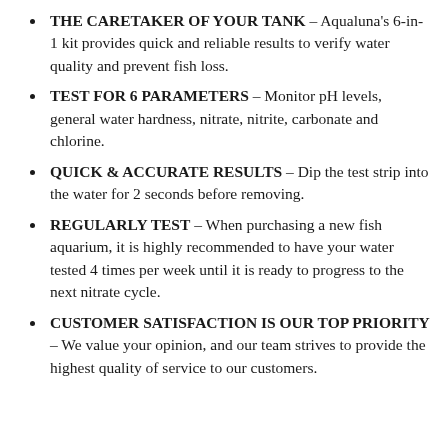THE CARETAKER OF YOUR TANK – Aqualuna's 6-in-1 kit provides quick and reliable results to verify water quality and prevent fish loss.
TEST FOR 6 PARAMETERS – Monitor pH levels, general water hardness, nitrate, nitrite, carbonate and chlorine.
QUICK & ACCURATE RESULTS – Dip the test strip into the water for 2 seconds before removing.
REGULARLY TEST – When purchasing a new fish aquarium, it is highly recommended to have your water tested 4 times per week until it is ready to progress to the next nitrate cycle.
CUSTOMER SATISFACTION IS OUR TOP PRIORITY – We value your opinion, and our team strives to provide the highest quality of service to our customers.